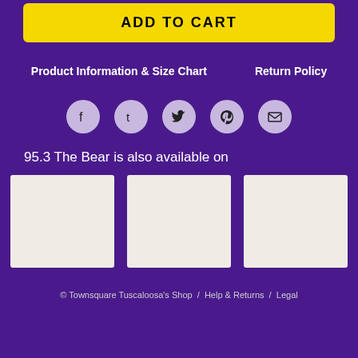ADD TO CART
Product Information & Size Chart
Return Policy
[Figure (infographic): Social media share icons: Facebook, Tumblr, Twitter, Pinterest, Email — displayed as circular buttons]
95.3 The Bear is also available on
[Figure (other): Three placeholder product image boxes (light beige/cream color) displayed in a row]
© Townsquare Tuscaloosa's Shop  /  Help & Returns  /  Legal